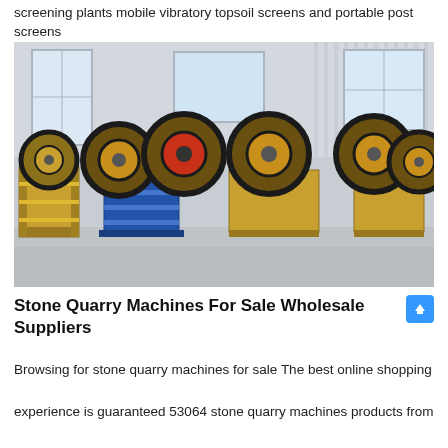screening plants mobile vibratory topsoil screens and portable post screens
[Figure (photo): Industrial warehouse interior showing multiple jaw crusher machines with large flywheels, painted blue and yellow/gold, lined up on a concrete floor with metal wall cladding in the background.]
Stone Quarry Machines For Sale Wholesale Suppliers
Browsing for stone quarry machines for sale The best online shopping experience is guaranteed 53064 stone quarry machines products from